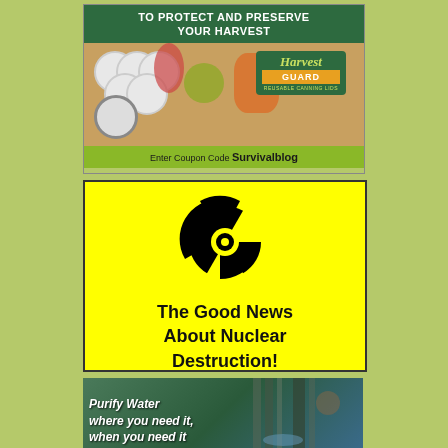[Figure (infographic): Harvest Guard reusable canning lids advertisement. Green header reads 'TO PROTECT AND PRESERVE YOUR HARVEST'. Image shows white canning lids and fruits. Logo reads 'Harvest Guard Reusable Canning Lids'. Green bottom bar reads 'Enter Coupon Code Survivalblog'.]
[Figure (infographic): Yellow square with black radiation/nuclear symbol at top. Text below reads 'The Good News About Nuclear Destruction!']
[Figure (infographic): Partial advertisement showing outdoor water purification scene. White bold italic text reads 'Purify Water where you need it, when you need it']